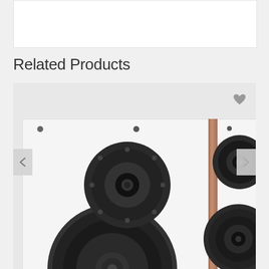Related Products
[Figure (photo): Close-up photograph of two white bookshelf/floor-standing speakers side by side. The left speaker shows a large black woofer driver at the bottom and a tweeter above it. The right speaker shows a smaller tweeter at the top and a mid-woofer below. A brown/copper colored vertical bar separates them. Navigation arrows are visible on the left and right edges of the image frame, and a heart/favorite icon is visible in the upper right.]